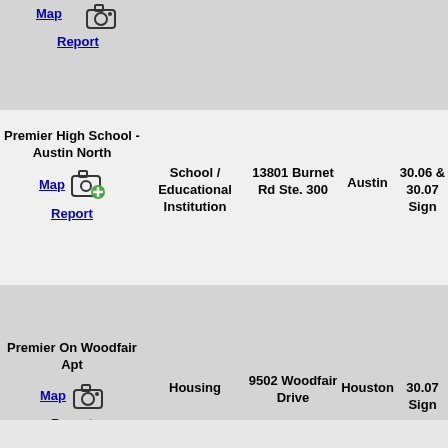| Name | Type | Address | City | Sign |
| --- | --- | --- | --- | --- |
| [partial row - Map / Report] |  |  |  |  |
| Premier High School - Austin North | School / Educational Institution | 13801 Burnet Rd Ste. 300 | Austin | 30.06 & 30.07 Sign |
| Premier On Woodfair Apt | Housing | 9502 Woodfair Drive | Houston | 30.07 Sign |